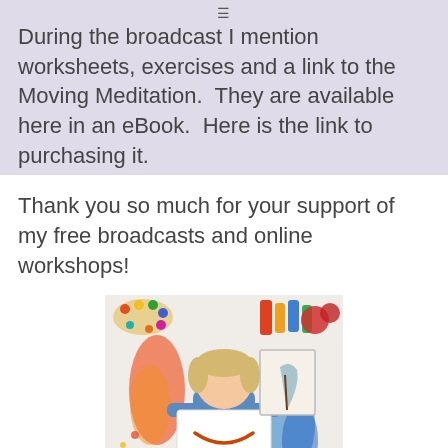≡
During the broadcast I mention worksheets, exercises and a link to the Moving Meditation.  They are available here in an eBook.  Here is the link to purchasing it.
Thank you so much for your support of my free broadcasts and online workshops!
[Figure (photo): Person sitting on floor holding up a paper with a smiley face drawn on it, surrounded by colorful art supplies, paint palettes, and canvases]
Creating a